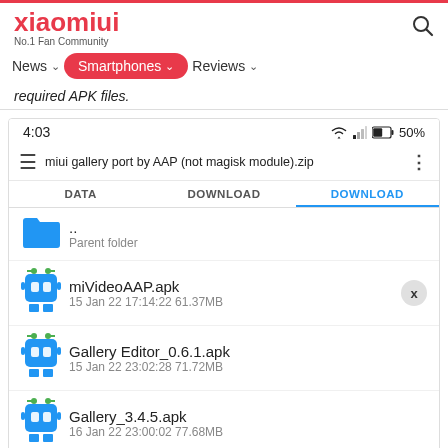xiaomiui — No.1 Fan Community
News  Smartphones  Reviews
required APK files.
[Figure (screenshot): Android file manager showing DOWNLOAD folder contents with files: parent folder (..), miVideoAAP.apk (15 Jan 22 17:14:22, 61.37MB), Gallery Editor_0.6.1.apk (15 Jan 22 23:02:28, 71.72MB), Gallery_3.4.5.apk (16 Jan 22 23:00:02, 77.68MB). Status bar shows 4:03 and 50% battery. File manager title: 'miui gallery port by AAP (not magisk module).zip' with tabs DATA, DOWNLOAD, DOWNLOAD.]